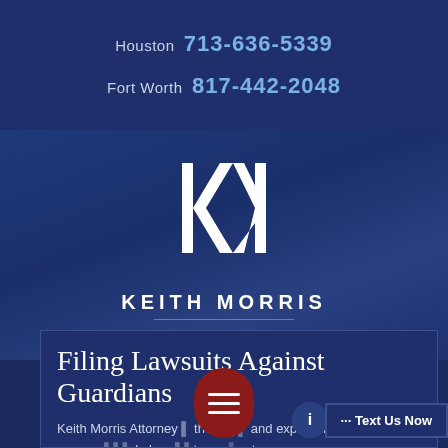Houston 713-636-5339 Fort Worth 817-442-2048
[Figure (logo): Keith Morris Attorney at Law logo — stylized KM monogram in white on dark blue background, with text KEITH MORRIS ATTORNEY AT LAW below]
Filing Lawsuits Against Guardians
Keith Morris Attorney at Law has the skills and experience to successfully handle lawsuits against